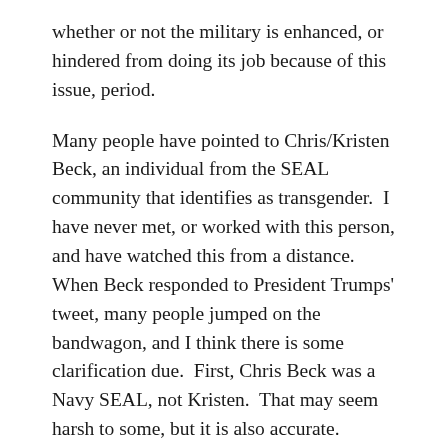whether or not the military is enhanced, or hindered from doing its job because of this issue, period.
Many people have pointed to Chris/Kristen Beck, an individual from the SEAL community that identifies as transgender.  I have never met, or worked with this person, and have watched this from a distance. When Beck responded to President Trumps' tweet, many people jumped on the bandwagon, and I think there is some clarification due.  First, Chris Beck was a Navy SEAL, not Kristen.  That may seem harsh to some, but it is also accurate.  Chris, after military service, came forward as identifying as transgender, not during his time in the service.  I have no doubt that he struggled with his identity during service, but he chose to transition (I do not know if that is the correct term)